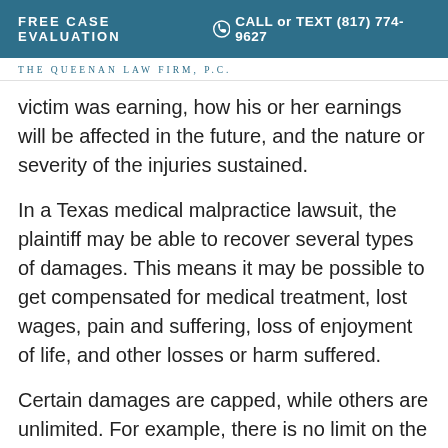FREE CASE EVALUATION | CALL or TEXT (817) 774-9627
THE QUEENAN LAW FIRM, P.C.
victim was earning, how his or her earnings will be affected in the future, and the nature or severity of the injuries sustained.
In a Texas medical malpractice lawsuit, the plaintiff may be able to recover several types of damages. This means it may be possible to get compensated for medical treatment, lost wages, pain and suffering, loss of enjoyment of life, and other losses or harm suffered.
Certain damages are capped, while others are unlimited. For example, there is no limit on the